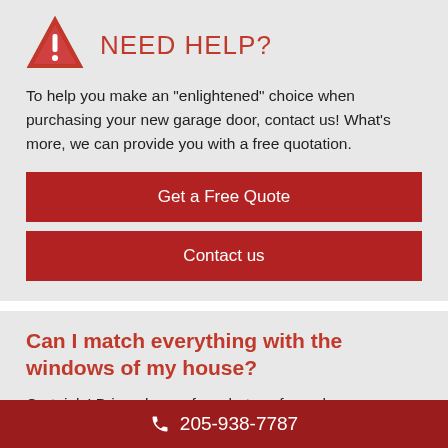NEED HELP?
To help you make an "enlightened" choice when purchasing your new garage door, contact us! What's more, we can provide you with a free quotation.
Get a Free Quote
Contact us
Can I match everything with the windows of my house?
Certainly! Bring along a few photos of your house or your architect's plan, and we'll show you the most
205-938-7787